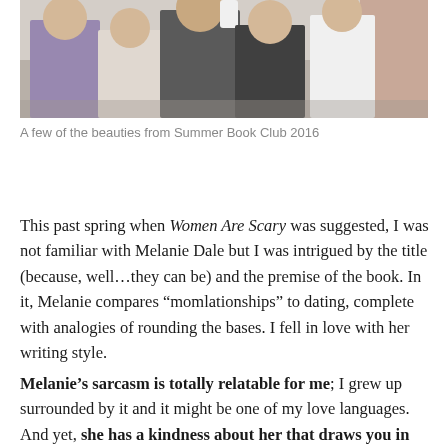[Figure (photo): Group photo of several women standing together outdoors, partially cropped at top, showing torsos and heads at the bottom edge of frame.]
A few of the beauties from Summer Book Club 2016
This past spring when Women Are Scary was suggested, I was not familiar with Melanie Dale but I was intrigued by the title (because, well…they can be) and the premise of the book. In it, Melanie compares “momlationships” to dating, complete with analogies of rounding the bases. I fell in love with her writing style.
Melanie’s sarcasm is totally relatable for me; I grew up surrounded by it and it might be one of my love languages. And yet, she has a kindness about her that draws you in close and makes you want to spend time with her